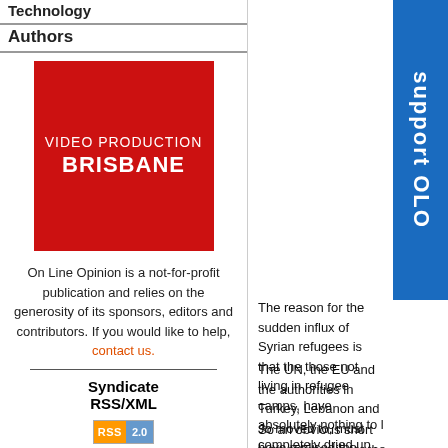Technology
Authors
[Figure (logo): Red square logo with text VIDEO PRODUCTION BRISBANE in white]
On Line Opinion is a not-for-profit publication and relies on the generosity of its sponsors, editors and contributors. If you would like to help, contact us.
Syndicate RSS/XML
[Figure (logo): RSS 2.0 badge in orange and blue]
[Figure (other): Support OLO blue vertical banner with rotated white text]
The reason for the sudden influx of Syrian refugees is that the those not living in refugee camps, have absolutely nothing to l completely dried up, so they feel they can't lose anything by le journey to Europe.
The UN, the EU and the authorities in Turkey, Lebanon and Jo moved to, must have realised the likely response to the lack o desperate people trying to find a foothold in Europe. If they di am amazed and disappointed this was not highlighted before n
So an obvious short term solution is for the EU to provide the US $2 billion. This seems like a small percentage of the US $1